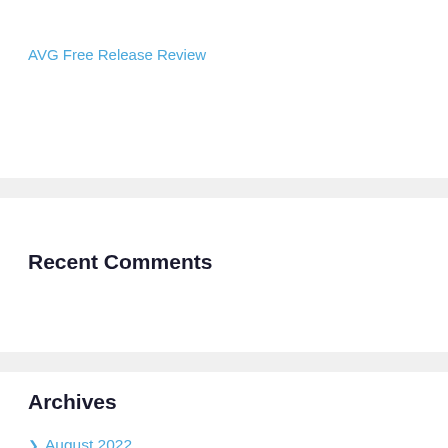AVG Free Release Review
Recent Comments
Archives
August 2022
July 2022
June 2022